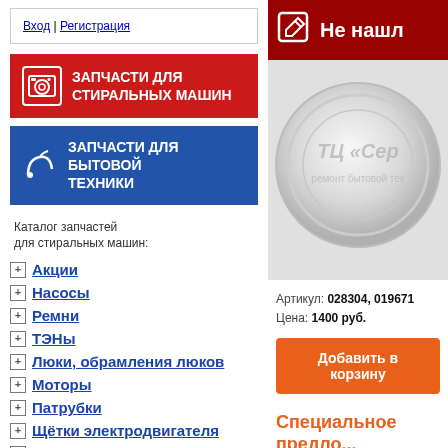Вход | Регистрация
[Figure (illustration): Red banner with washing machine icon: ЗАПЧАСТИ ДЛЯ СТИРАЛЬНЫХ МАШИН]
[Figure (illustration): Blue banner with appliance icon: ЗАПЧАСТИ ДЛЯ БЫТОВОЙ ТЕХНИКИ]
Каталог запчастей для стиральных машин:
Акции
Насосы
Ремни
ТЭНы
Люки, обрамления люков
Моторы
Патрубки
Щётки электродвигателя
Отбойники
Подшипники
[Figure (illustration): Dark red banner top right with edit icon and text: Не нашл...]
[Figure (photo): Product photo of a round transparent glass or plastic part (washing machine door glass) with watermark ТЦ «Сер...» ремонт бытовой тех...]
Артикул: 028304, 019671
Цена: 1400 руб.
Добавить в корзину
Специальное предло...